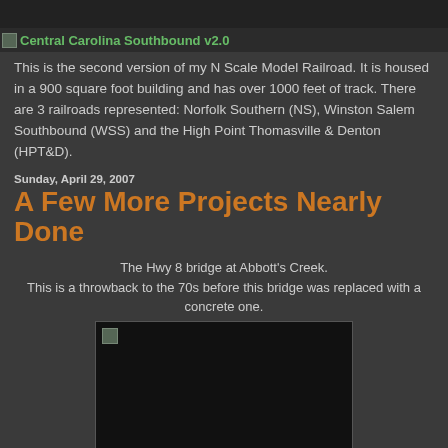Central Carolina Southbound v2.0
This is the second version of my N Scale Model Railroad. It is housed in a 900 square foot building and has over 1000 feet of track. There are 3 railroads represented: Norfolk Southern (NS), Winston Salem Southbound (WSS) and the High Point Thomasville & Denton (HPT&D).
Sunday, April 29, 2007
A Few More Projects Nearly Done
The Hwy 8 bridge at Abbott's Creek.
This is a throwback to the 70s before this bridge was replaced with a concrete one.
[Figure (photo): A dark/black photograph of a model railroad bridge scene, partially loaded (broken image placeholder visible at top left).]